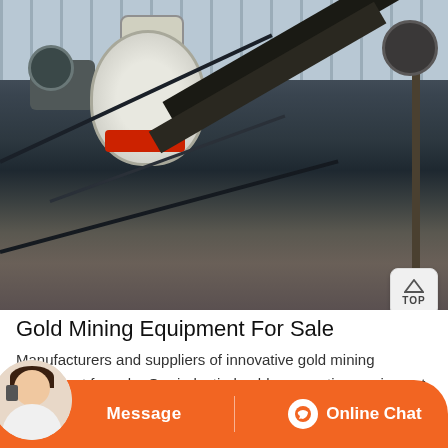[Figure (photo): Industrial mining equipment inside a warehouse: a large cone crusher machine with red ring flange, conveyor belt, structural steel beams, and other industrial machinery.]
Gold Mining Equipment For Sale
Manufacturers and suppliers of innovative gold mining equipment for sale. Our industiral gold prospecting equipment includes sonic sluice boxes, micron gold recovery units, classifiers, wash plants, dredges, recreational gold recovery plus used mining equipment for
Message
Online Chat